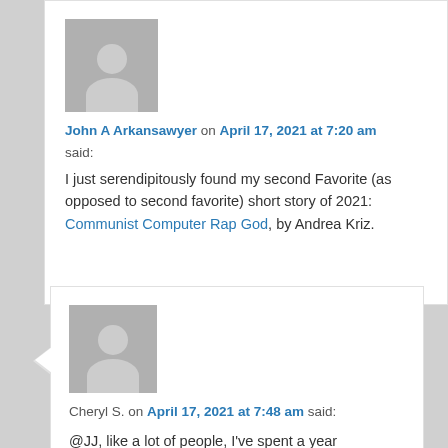[Figure (illustration): Default grey avatar/person placeholder icon for comment 1]
John A Arkansawyer on April 17, 2021 at 7:20 am said:
I just serendipitously found my second Favorite (as opposed to second favorite) short story of 2021: Communist Computer Rap God, by Andrea Kriz.
[Figure (illustration): Default grey avatar/person placeholder icon for comment 2]
Cheryl S. on April 17, 2021 at 7:48 am said:
@JJ, like a lot of people, I've spent a year discovering the limits of my own resilience. I've often lurked, but apparently it took being vaccinated to unlock my fingers. 😗 Hope you're